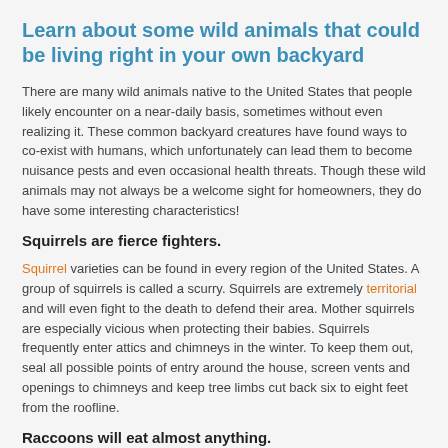Learn about some wild animals that could be living right in your own backyard
There are many wild animals native to the United States that people likely encounter on a near-daily basis, sometimes without even realizing it. These common backyard creatures have found ways to co-exist with humans, which unfortunately can lead them to become nuisance pests and even occasional health threats. Though these wild animals may not always be a welcome sight for homeowners, they do have some interesting characteristics!
Squirrels are fierce fighters.
Squirrel varieties can be found in every region of the United States. A group of squirrels is called a scurry. Squirrels are extremely territorial and will even fight to the death to defend their area. Mother squirrels are especially vicious when protecting their babies. Squirrels frequently enter attics and chimneys in the winter. To keep them out, seal all possible points of entry around the house, screen vents and openings to chimneys and keep tree limbs cut back six to eight feet from the roofline.
Raccoons will eat almost anything.